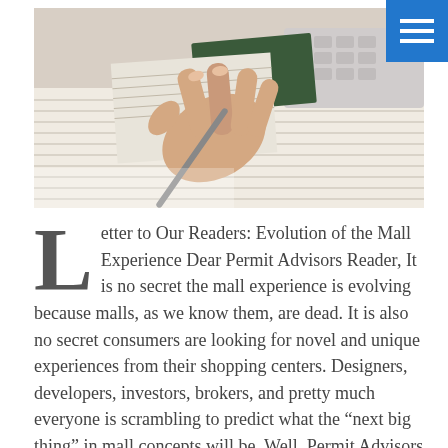[Figure (photo): Close-up photo of a hand holding a pen, writing on lined notebook paper, with a keyboard visible in the background]
Letter to Our Readers: Evolution of the Mall Experience Dear Permit Advisors Reader, It is no secret the mall experience is evolving because malls, as we know them, are dead. It is also no secret consumers are looking for novel and unique experiences from their shopping centers. Designers, developers, investors, brokers, and pretty much everyone is scrambling to predict what the "next big thing" in mall concepts will be. Well, Permit Advisors can't predict what next tech or unique